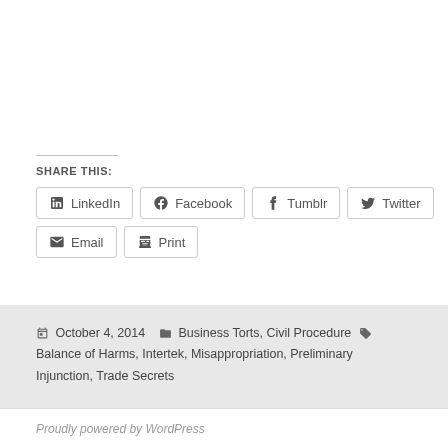SHARE THIS:
LinkedIn
Facebook
Tumblr
Twitter
Email
Print
October 4, 2014   Business Torts, Civil Procedure   Balance of Harms, Intertek, Misappropriation, Preliminary Injunction, Trade Secrets
Proudly powered by WordPress